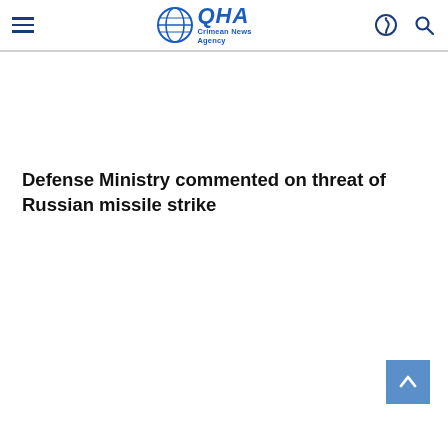QHA Crimean News Agency
Defense Ministry commented on threat of Russian missile strike
[Figure (other): Back to top scroll button with upward arrow, steel blue background]